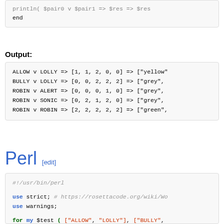[Figure (screenshot): Code snippet showing end of a function with println call, monospace font in a grey box]
Output:
[Figure (screenshot): Output box showing: ALLOW v LOLLY => [1, 1, 2, 0, 0] => ["yellow"..., BULLY v LOLLY => [0, 0, 2, 2, 2] => ["grey",..., ROBIN v ALERT => [0, 0, 0, 1, 0] => ["grey",..., ROBIN v SONIC => [0, 2, 1, 2, 0] => ["grey",..., ROBIN v ROBIN => [2, 2, 2, 2, 2] => ["green",...]
Perl [edit]
[Figure (screenshot): Perl code snippet with syntax highlighting: #!/usr/bin/perl, use strict; # https://rosettacode.org/wiki/Wo, use warnings;, for my $test ( ["ALLOW", "LOLLY"], ["BULLY",..., ["ROBIN", "SONIC"], ["ROBIN", "ROBIN"]), {, local $_ = join "\n", @$test;]